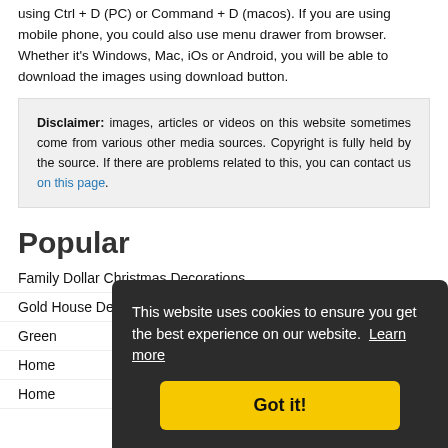using Ctrl + D (PC) or Command + D (macos). If you are using mobile phone, you could also use menu drawer from browser. Whether it's Windows, Mac, iOs or Android, you will be able to download the images using download button.
Disclaimer: images, articles or videos on this website sometimes come from various other media sources. Copyright is fully held by the source. If there are problems related to this, you can contact us on this page.
Popular
Family Dollar Christmas Decorations
Gold House Decor
Green...
Home...
Home...
This website uses cookies to ensure you get the best experience on our website. Learn more